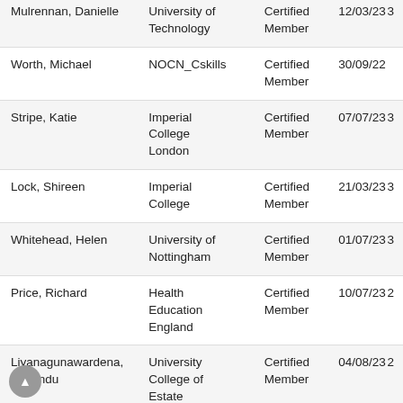| Name | Organisation | Type | Date |  |
| --- | --- | --- | --- | --- |
| Mulrennan, Danielle | Auckland University of Technology | Certified Member | 12/03/23 | 3 |
| Worth, Michael | NOCN_Cskills | Certified Member | 30/09/22 |  |
| Stripe, Katie | Imperial College London | Certified Member | 07/07/23 | 3 |
| Lock, Shireen | Imperial College | Certified Member | 21/03/23 | 3 |
| Whitehead, Helen | University of Nottingham | Certified Member | 01/07/23 | 3 |
| Price, Richard | Health Education England | Certified Member | 10/07/23 | 2 |
| Liyanagunawardena, Tharindu | University College of Estate | Certified Member | 04/08/23 | 2 |